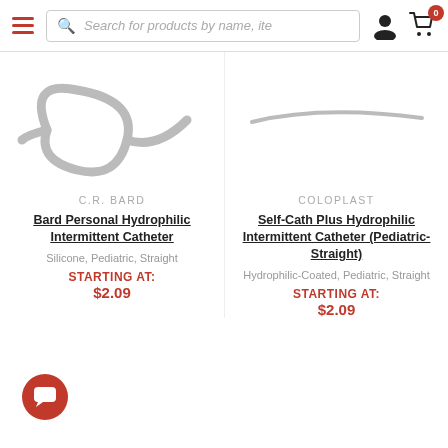Search for products by name, ite
[Figure (photo): Silicone pediatric straight intermittent catheter coiled]
[Figure (photo): Straight catheter shown from side, simple curved line]
C.R. BARD
Bard Personal Hydrophilic Intermittent Catheter
Silicone, Pediatric, Straight
STARTING AT: $2.09
COLOPLAST
Self-Cath Plus Hydrophilic Intermittent Catheter (Pediatric-Straight)
Hydrophilic-Coated, Pediatric, Straight
STARTING AT: $2.09